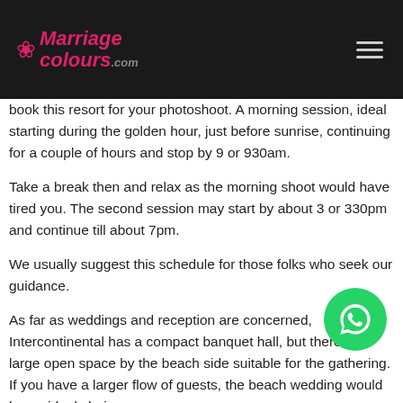MarriageColours.com
book this resort for your photoshoot. A morning session, ideal starting during the golden hour, just before sunrise, continuing for a couple of hours and stop by 9 or 930am.
Take a break then and relax as the morning shoot would have tired you. The second session may start by about 3 or 330pm and continue till about 7pm.
We usually suggest this schedule for those folks who seek our guidance.
As far as weddings and reception are concerned, Intercontinental has a compact banquet hall, but there is a large open space by the beach side suitable for the gathering. If you have a larger flow of guests, the beach wedding would be an ideal choice.
In summary, Intercontinental Mahabalipuram, though it is at